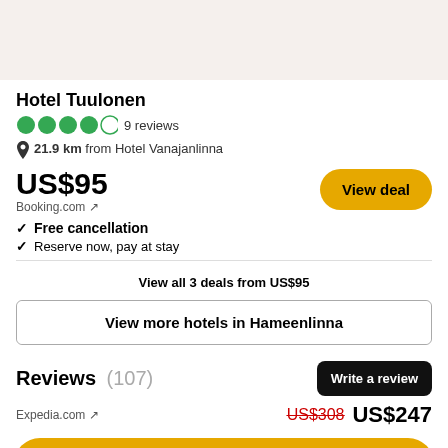[Figure (screenshot): Top beige/cream colored bar area]
Hotel Tuulonen
4 out of 5 circles (TripAdvisor rating) · 9 reviews
21.9 km from Hotel Vanajanlinna
US$95
Booking.com ↗
✓ Free cancellation
✓ Reserve now, pay at stay
View all 3 deals from US$95
View more hotels in Hameenlinna
Reviews (107)
Write a review
Expedia.com ↗   US$308  US$247
View deal